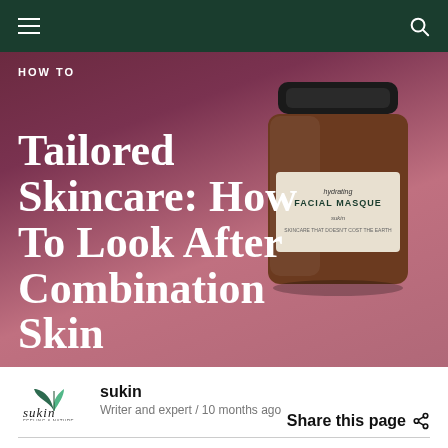HOW TO
Tailored Skincare: How To Look After Combination Skin
[Figure (photo): A dark amber glass jar of Sukin Hydrating Facial Masque on a deep rose/mauve background]
sukin
Writer and expert / 10 months ago
Share this page
Confused by your skin type? Combination skin can lean towards oily or dry depending on the area of the face. It's important to choose the best products for combination skin that address the differing conditions